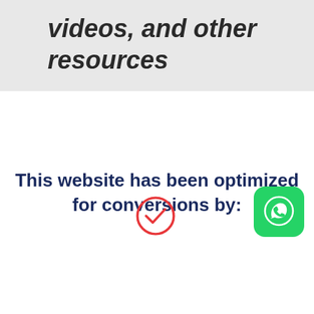videos, and other resources
This website has been optimized for conversions by:
[Figure (logo): WhatsApp logo icon — green rounded square with white phone/chat bubble symbol]
[Figure (logo): Partial red circle logo visible at bottom center of page]